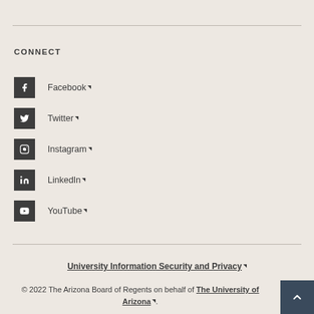CONNECT
Facebook (external link)
Twitter (external link)
Instagram (external link)
LinkedIn (external link)
YouTube (external link)
University Information Security and Privacy (external link)
© 2022 The Arizona Board of Regents on behalf of The University of Arizona (external link).